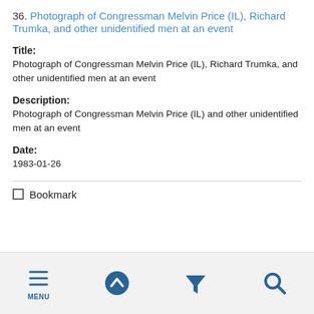36. Photograph of Congressman Melvin Price (IL), Richard Trumka, and other unidentified men at an event
Title: Photograph of Congressman Melvin Price (IL), Richard Trumka, and other unidentified men at an event
Description: Photograph of Congressman Melvin Price (IL) and other unidentified men at an event
Date: 1983-01-26
Bookmark